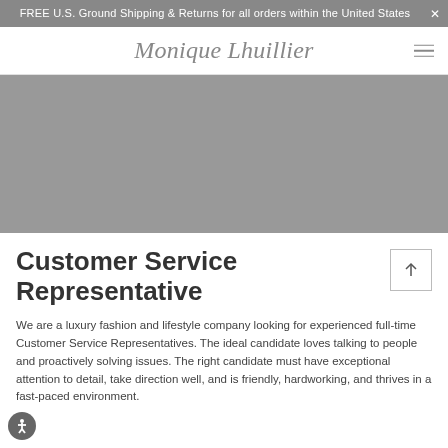FREE U.S. Ground Shipping & Returns for all orders within the United States
Monique Lhuillier
[Figure (photo): Gray hero image banner area for Monique Lhuillier website]
Customer Service Representative
We are a luxury fashion and lifestyle company looking for experienced full-time Customer Service Representatives. The ideal candidate loves talking to people and proactively solving issues. The right candidate must have exceptional attention to detail, take direction well, and is friendly, hardworking, and thrives in a fast-paced environment.